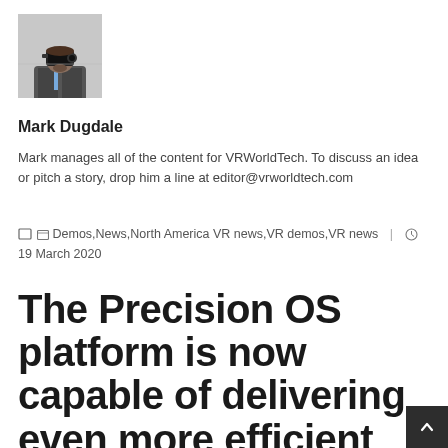[Figure (photo): Profile photo of a person wearing VR headset/camera equipment]
Mark Dugdale
Mark manages all of the content for VRWorldTech. To discuss an idea or pitch a story, drop him a line at editor@vrworldtech.com
Demos, News, North America VR news, VR demos, VR news | 19 March 2020
The Precision OS platform is now capable of delivering even more efficient and effective training